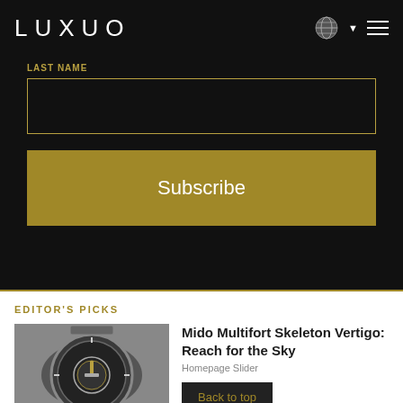LUXUO
Last Name
Subscribe
EDITOR'S PICKS
[Figure (photo): Close-up photo of a Mido Multifort Skeleton watch with silver bracelet on grey background]
Mido Multifort Skeleton Vertigo: Reach for the Sky
Homepage Slider
Back to top